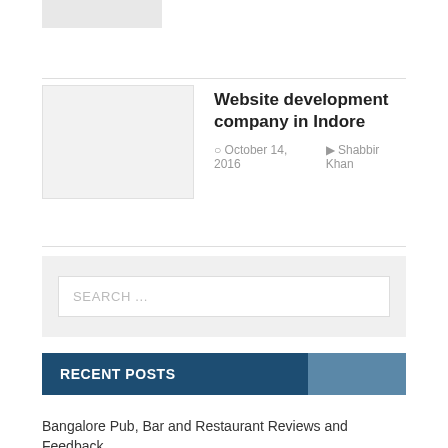[Figure (photo): Small gray placeholder image at top left]
Website development company in Indore
October 14, 2016   Shabbir Khan
[Figure (other): Search box input with placeholder text SEARCH ...]
RECENT POSTS
Bangalore Pub, Bar and Restaurant Reviews and Feedback
Best Website for Health, Fitness, Body Building, Hair Treatment & Weight Loss
PHP Tutorial for Beginners